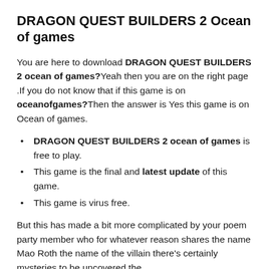DRAGON QUEST BUILDERS 2 Ocean of games
You are here to download DRAGON QUEST BUILDERS 2 ocean of games? Yeah then you are on the right page .If you do not know that if this game is on oceanofgames? Then the answer is Yes this game is on Ocean of games.
DRAGON QUEST BUILDERS 2 ocean of games is free to play.
This game is the final and latest update of this game.
This game is virus free.
But this has made a bit more complicated by your poem party member who for whatever reason shares the name Mao Roth the name of the villain there's certainly mysteries to be uncovered the